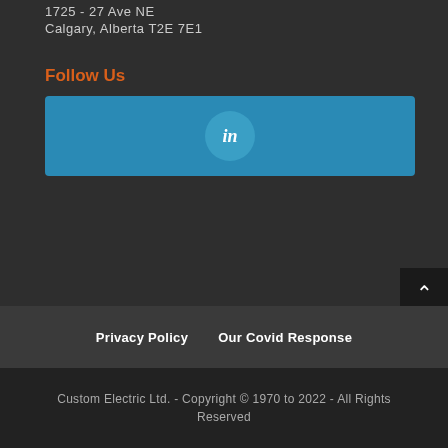1725 - 27 Ave NE
Calgary, Alberta T2E 7E1
Follow Us
[Figure (logo): LinkedIn button - blue rectangle with a circular LinkedIn 'in' logo icon in the center]
Privacy Policy   Our Covid Response
Custom Electric Ltd. - Copyright © 1970 to 2022 - All Rights Reserved